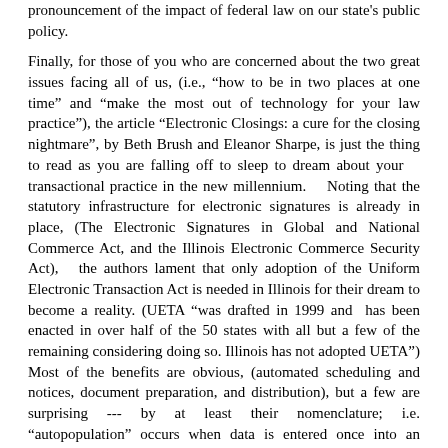pronouncement of the impact of federal law on our state's public policy.
Finally, for those of you who are concerned about the two great issues facing all of us, (i.e., “how to be in two places at one time” and “make the most out of technology for your law practice”), the article “Electronic Closings: a cure for the closing nightmare”, by Beth Brush and Eleanor Sharpe, is just the thing to read as you are falling off to sleep to dream about your transactional practice in the new millennium. Noting that the statutory infrastructure for electronic signatures is already in place, (The Electronic Signatures in Global and National Commerce Act, and the Illinois Electronic Commerce Security Act), the authors lament that only adoption of the Uniform Electronic Transaction Act is needed in Illinois for their dream to become a reality. (UETA “was drafted in 1999 and has been enacted in over half of the 50 states with all but a few of the remaining considering doing so. Illinois has not adopted UETA”) Most of the benefits are obvious, (automated scheduling and notices, document preparation, and distribution), but a few are surprising --- by at least their nomenclature; i.e. “autopopulation” occurs when data is entered once into an electronic media and then “autopoplulated” throughout the system, (sounds like a virus or very powerful ‘cut-and-paste’ to me); “PKI” refers